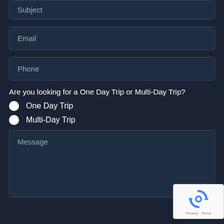Subject
Email
Phone
Are you looking for a One Day Trip or Multi-Day Trip?
One Day Trip
Multi-Day Trip
Message
[Figure (logo): Google reCAPTCHA badge with recycle-arrow icon and Privacy - Terms text]